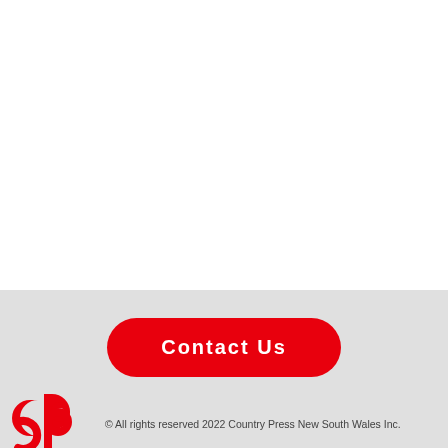[Figure (other): Red rounded rectangle button with white bold text reading 'Contact Us']
[Figure (logo): Country Press New South Wales Inc. logo — interlocking red 'c' and 'p' letters]
© All rights reserved 2022 Country Press New South Wales Inc.